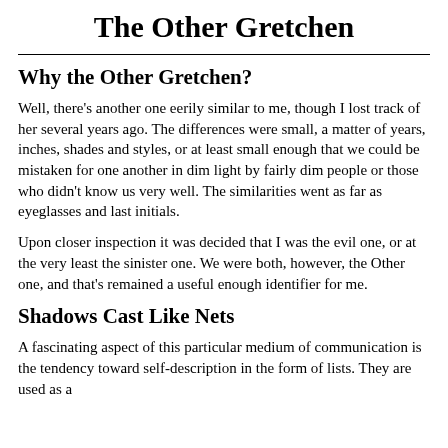The Other Gretchen
Why the Other Gretchen?
Well, there's another one eerily similar to me, though I lost track of her several years ago. The differences were small, a matter of years, inches, shades and styles, or at least small enough that we could be mistaken for one another in dim light by fairly dim people or those who didn't know us very well. The similarities went as far as eyeglasses and last initials.
Upon closer inspection it was decided that I was the evil one, or at the very least the sinister one. We were both, however, the Other one, and that's remained a useful enough identifier for me.
Shadows Cast Like Nets
A fascinating aspect of this particular medium of communication is the tendency toward self-description in the form of lists. They are used as a